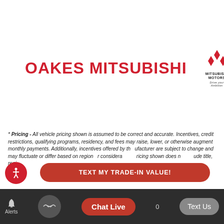[Figure (logo): Oakes Mitsubishi dealership logo with red text 'OAKES MITSUBISHI', a vertical divider line, and the Mitsubishi Motors logo (three diamonds) with text 'MITSUBISHI MOTORS Drive your Ambition']
* Pricing - All vehicle pricing shown is assumed to be correct and accurate. Incentives, credit restrictions, qualifying programs, residency, and fees may raise, lower, or otherwise augment monthly payments. Additionally, incentives offered by the manufacturer are subject to change and may fluctuate or differ based on region or consideration. Pricing shown does not include title, regi...
[Figure (screenshot): Red pill-shaped button overlay with white text 'TEXT MY TRADE-IN VALUE!']
[Figure (screenshot): Bottom navigation bar with Alerts icon, handshake icon, red 'Chat Live' button, and grey 'Text Us' button]